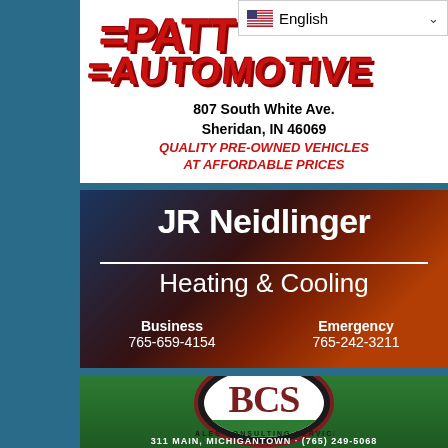[Figure (advertisement): Patt Automotive ad - logo with red stylized text, address 807 South White Ave. Sheridan, IN 46069, tagline QUALITY PRE-OWNED VEHICLES AT AFFORDABLE PRICES]
[Figure (advertisement): JR Neidlinger Heating & Cooling ad with fire/ice background. Business 765-659-4154, Emergency 765-242-3211]
[Figure (advertisement): BCS Bales Consulting Service ad with oval logo on grass background. 311 Main, Michigantown (765) 249-5068]